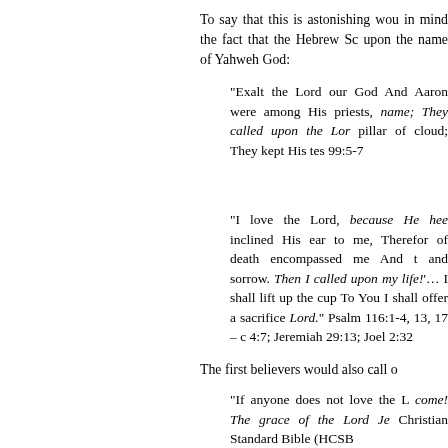To say that this is astonishing wou in mind the fact that the Hebrew Sc upon the name of Yahweh God:
“Exalt the Lord our God And Aaron were among His priests, name; They called upon the Lor pillar of cloud; They kept His tes 99:5-7
“I love the Lord, because He hee inclined His ear to me, Therefor of death encompassed me And t and sorrow. Then I called upon my life!’… I shall lift up the cup To You I shall offer a sacrifice Lord.” Psalm 116:1-4, 13, 17 – c 4:7; Jeremiah 29:13; Joel 2:32
The first believers would also call o
“If anyone does not love the L come! The grace of the Lord Je Christian Standard Bible (HCSB